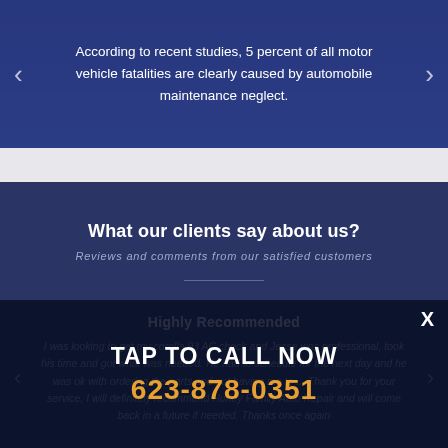According to recent studies, 5 percent of all motor vehicle fatalities are clearly caused by automobile maintenance neglect.
What our clients say about us?
Reviews and comments from our satisfied customers
Highly Recommended
I was looking to get my corolla 93 AC check and Jesse was professional, took his time and got what was needed. He had to schedule for the next day and he was ok with ordering the parts and not having me to ... Thank you for your service, I will definitely recommend Hurley Family Auto Repair and will come back in a future if needed. Thanks once again
TAP TO CALL NOW
623-878-0351